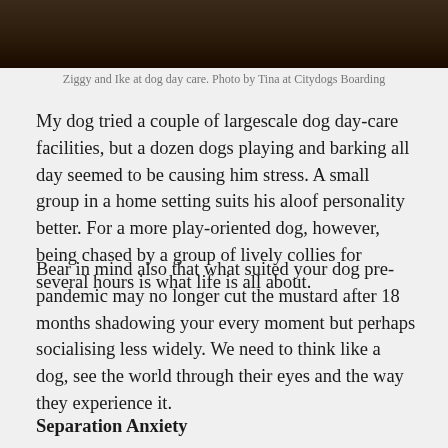[Figure (photo): Dark photo strip at top of page showing dogs at dog day care, partial view with dark brown tones]
Ziggy and Ike at dog day care. Photo by Tina at Citydogs Boarding
My dog tried a couple of largescale dog day-care facilities, but a dozen dogs playing and barking all day seemed to be causing him stress. A small group in a home setting suits his aloof personality better. For a more play-oriented dog, however, being chased by a group of lively collies for several hours is what life is all about.
Bear in mind also that what suited your dog pre-pandemic may no longer cut the mustard after 18 months shadowing your every moment but perhaps socialising less widely. We need to think like a dog, see the world through their eyes and the way they experience it.
Separation Anxiety